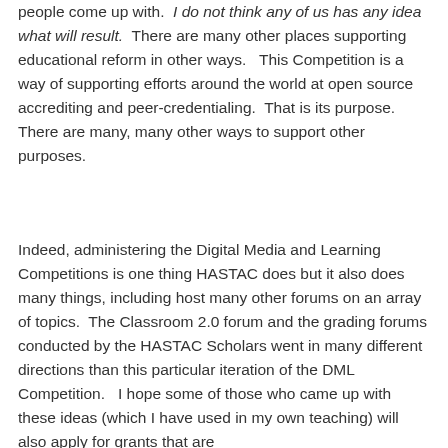people come up with. I do not think any of us has any idea what will result. There are many other places supporting educational reform in other ways. This Competition is a way of supporting efforts around the world at open source accrediting and peer-credentialing. That is its purpose. There are many, many other ways to support other purposes.
Indeed, administering the Digital Media and Learning Competitions is one thing HASTAC does but it also does many things, including host many other forums on an array of topics. The Classroom 2.0 forum and the grading forums conducted by the HASTAC Scholars went in many different directions than this particular iteration of the DML Competition. I hope some of those who came up with these ideas (which I have used in my own teaching) will also apply for grants that are